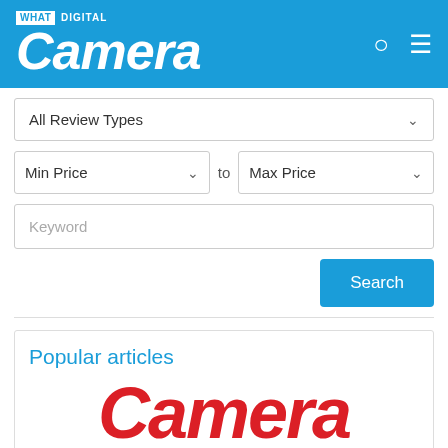What Digital Camera
All Review Types
Min Price to Max Price
Keyword
Search
Popular articles
[Figure (logo): Camera magazine logo in red italic bold font]
Best travel compact cameras 2016